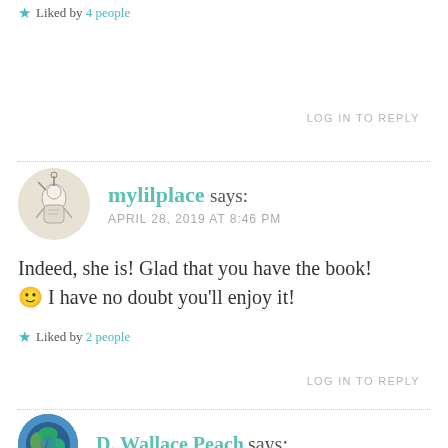★ Liked by 4 people
LOG IN TO REPLY
mylilplace says: APRIL 28, 2019 AT 8:46 PM
Indeed, she is! Glad that you have the book! 🙂 I have no doubt you'll enjoy it!
★ Liked by 2 people
LOG IN TO REPLY
D. Wallace Peach says: